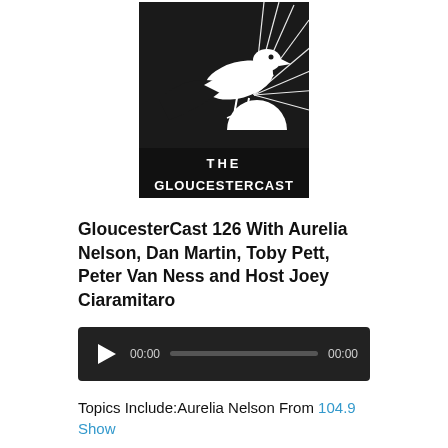[Figure (logo): The GloucesterCast podcast logo: black and white illustration of a seagull perched with a sunburst background, with text 'THE GLOUCESTERCAST' on a black banner below.]
GloucesterCast 126 With Aurelia Nelson, Dan Martin, Toby Pett, Peter Van Ness and Host Joey Ciaramitaro
[Figure (other): Audio player widget with play button, 00:00 start time, progress bar, and 00:00 end time on dark background.]
Topics Include:Aurelia Nelson From 104.9 Show